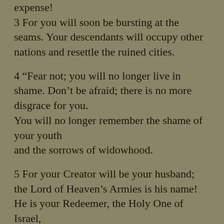expense!
3 For you will soon be bursting at the seams. Your descendants will occupy other nations and resettle the ruined cities.
4 “Fear not; you will no longer live in shame. Don’t be afraid; there is no more disgrace for you. You will no longer remember the shame of your youth and the sorrows of widowhood.
5 For your Creator will be your husband; the Lord of Heaven’s Armies is his name! He is your Redeemer, the Holy One of Israel, the God of all the earth.
6 For the Lord has called you back from your grief— as though you were a young wife abandoned by her husband.”